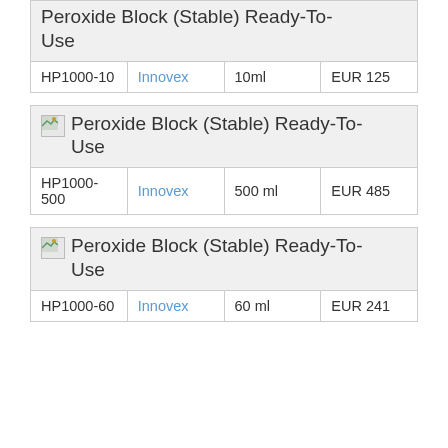Peroxide Block (Stable) Ready-To-Use
| SKU | Supplier | Size | Price |
| --- | --- | --- | --- |
| HP1000-10 | Innovex | 10ml | EUR 125 |
Peroxide Block (Stable) Ready-To-Use
| SKU | Supplier | Size | Price |
| --- | --- | --- | --- |
| HP1000-500 | Innovex | 500 ml | EUR 485 |
Peroxide Block (Stable) Ready-To-Use
| SKU | Supplier | Size | Price |
| --- | --- | --- | --- |
| HP1000-60 | Innovex | 60 ml | EUR 241 |